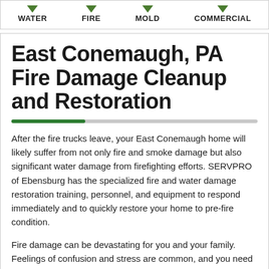WATER  FIRE  MOLD  COMMERCIAL
East Conemaugh, PA Fire Damage Cleanup and Restoration
After the fire trucks leave, your East Conemaugh home will likely suffer from not only fire and smoke damage but also significant water damage from firefighting efforts. SERVPRO of Ebensburg has the specialized fire and water damage restoration training, personnel, and equipment to respond immediately and to quickly restore your home to pre-fire condition.
Fire damage can be devastating for you and your family. Feelings of confusion and stress are common, and you need a caring expert to guide you through this crisis. We always treat your family with the greatest empathy and respect, and we'll treat your property with great care.